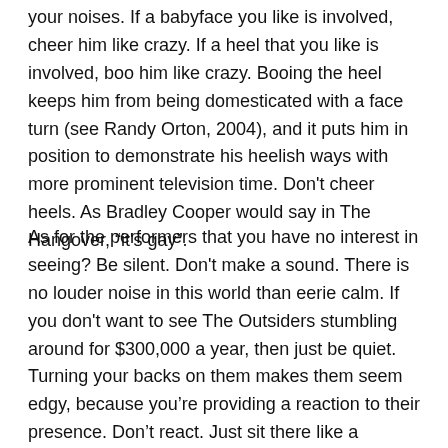your noises. If a babyface you like is involved, cheer him like crazy. If a heel that you like is involved, boo him like crazy. Booing the heel keeps him from being domesticated with a face turn (see Randy Orton, 2004), and it puts him in position to demonstrate his heelish ways with more prominent television time. Don't cheer heels. As Bradley Cooper would say in The Hangover, “it's gay”.
As for the performers that you have no interest in seeing? Be silent. Don't make a sound. There is no louder noise in this world than eerie calm. If you don't want to see The Outsiders stumbling around for $300,000 a year, then just be quiet. Turning your backs on them makes them seem edgy, because you’re providing a reaction to their presence. Don’t react. Just sit there like a mannequin (which is the French word for “McCool”). Trust me, it'll work. If TNA turns Sean Morley heel and gives him a gimmick where he’s so offensive to people that he makes them so uncomfortable that he